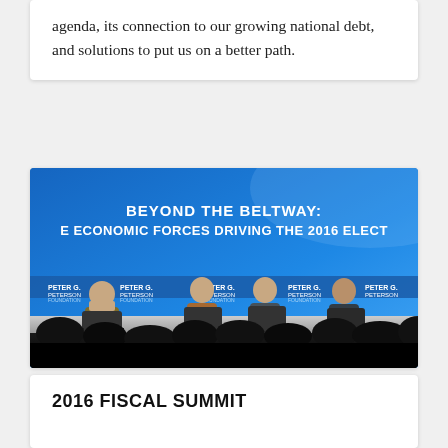agenda, its connection to our growing national debt, and solutions to put us on a better path.
[Figure (photo): Panel discussion on stage at a Peter G. Peterson Foundation event titled 'Beyond the Beltway: The Economic Forces Driving the 2016 Election'. Four panelists seated in chairs on a stage with a blue backdrop. An audience silhouette is visible in the foreground.]
2016 FISCAL SUMMIT